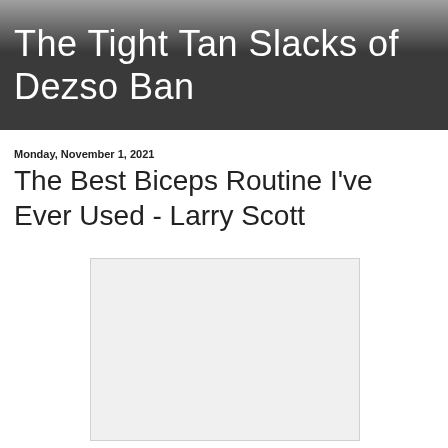The Tight Tan Slacks of Dezso Ban
Monday, November 1, 2021
The Best Biceps Routine I've Ever Used - Larry Scott
[Figure (photo): Blank/empty white image placeholder]